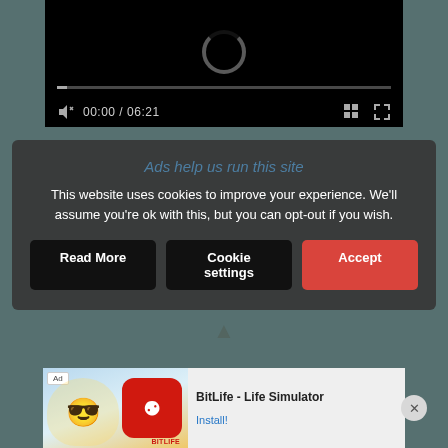[Figure (screenshot): Video player with black background, loading spinner, progress bar at 0:00 / 06:21, playback controls including mute icon, time display, grid icon and fullscreen icon]
This website uses cookies to improve your experience. We'll assume you're ok with this, but you can opt-out if you wish.
Read More
Cookie settings
Accept
[Figure (screenshot): Ad banner at bottom showing BitLife - Life Simulator app advertisement with Install button and close X button]